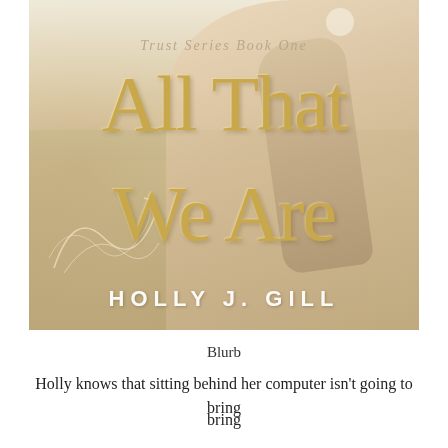[Figure (illustration): Book cover for 'All That We Are' by Holly J. Gill, Trust Series Book One. Shows a young blonde woman with a braided hairstyle viewed from behind/side, set against a warm golden field background. Large decorative gold title text and white author name.]
Blurb
Holly knows that sitting behind her computer isn't going to bring